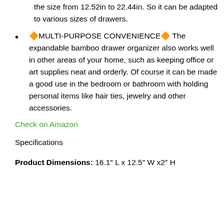the size from 12.52in to 22.44in. So it can be adapted to various sizes of drawers.
🔶MULTI-PURPOSE CONVENIENCE🔶 The expandable bamboo drawer organizer also works well in other areas of your home, such as keeping office or art supplies neat and orderly. Of course it can be made a good use in the bedroom or bathroom with holding personal items like hair ties, jewelry and other accessories.
Check on Amazon
Specifications
Product Dimensions: 16.1″ L x 12.5″ W x2″ H